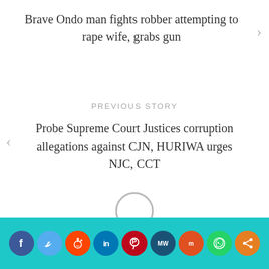Brave Ondo man fights robber attempting to rape wife, grabs gun
PREVIOUS STORY
Probe Supreme Court Justices corruption allegations against CJN, HURIWA urges NJC, CCT
[Figure (other): Loading spinner circle outline]
[Figure (other): Social media share bar with icons: Facebook, Twitter, Reddit, LinkedIn, Pinterest, MeWe, Mix, WhatsApp, Share]